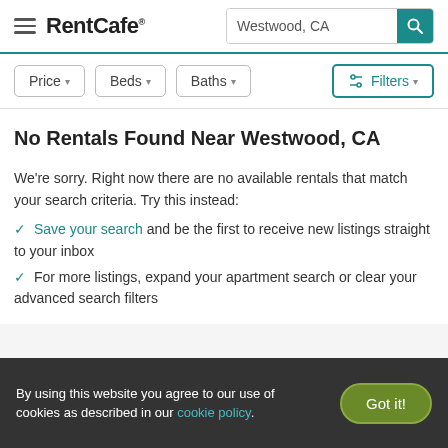RentCafe — Westwood, CA search
[Figure (screenshot): Filter buttons: Price, Beds, Baths, Filters]
No Rentals Found Near Westwood, CA
We're sorry. Right now there are no available rentals that match your search criteria. Try this instead:
Save your search and be the first to receive new listings straight to your inbox
For more listings, expand your apartment search or clear your advanced search filters
By using this website you agree to our use of cookies as described in our cookie policy.